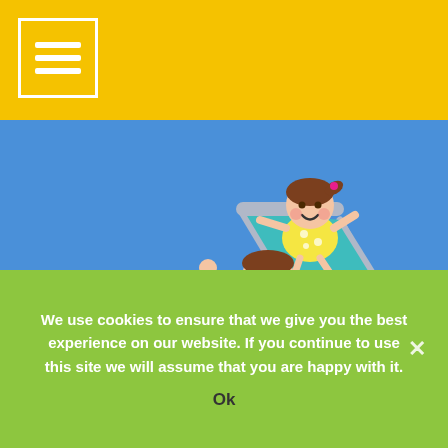[Figure (illustration): Yellow header bar with white hamburger menu icon in top-left corner]
[Figure (illustration): Cartoon illustration of two children playing on a slide against a blue sky background with green grass. A girl with a ponytail in a yellow polka-dot dress is at the top of the slide, and a boy in a red striped shirt is sliding down happily.]
We use cookies to ensure that we give you the best experience on our website. If you continue to use this site we will assume that you are happy with it.
Ok